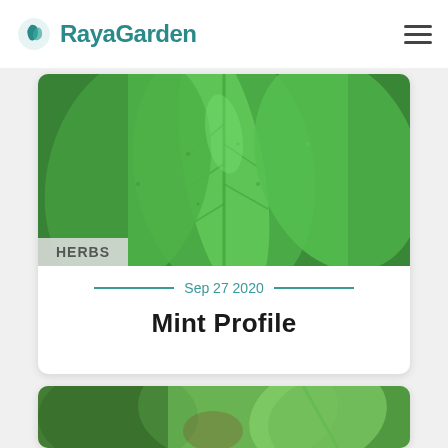RayaGarden
[Figure (photo): Close-up photo of bright green mint leaves with textured surface, used as hero image for Mint Profile article card]
HERBS
Sep 27 2020
Mint Profile
[Figure (photo): Close-up photo of green mint leaf, partially in focus, bottom portion of a second article card]